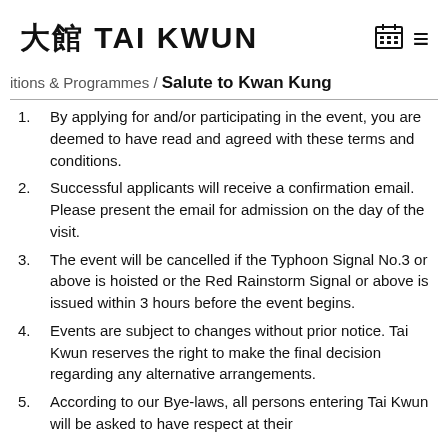大館 TAI KWUN
itions & Programmes / Salute to Kwan Kung
By applying for and/or participating in the event, you are deemed to have read and agreed with these terms and conditions.
Successful applicants will receive a confirmation email. Please present the email for admission on the day of the visit.
The event will be cancelled if the Typhoon Signal No.3 or above is hoisted or the Red Rainstorm Signal or above is issued within 3 hours before the event begins.
Events are subject to changes without prior notice. Tai Kwun reserves the right to make the final decision regarding any alternative arrangements.
According to our Bye-laws, all persons entering Tai Kwun will be asked to have respect at their...